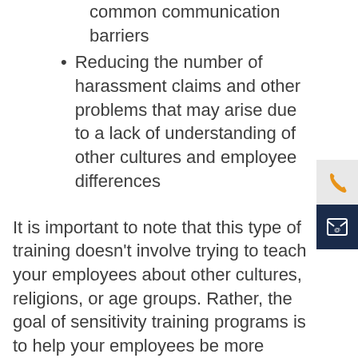common communication barriers
Reducing the number of harassment claims and other problems that may arise due to a lack of understanding of other cultures and employee differences
It is important to note that this type of training doesn't involve trying to teach your employees about other cultures, religions, or age groups. Rather, the goal of sensitivity training programs is to help your employees be more aware of how their perceptions can affect the way they interact with co-workers and understand